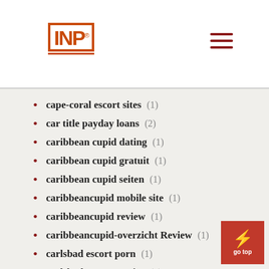INP logo and navigation header
cape-coral escort sites (1)
car title payday loans (2)
caribbean cupid dating (1)
caribbean cupid gratuit (1)
caribbean cupid seiten (1)
caribbeancupid mobile site (1)
caribbeancupid review (1)
caribbeancupid-overzicht Review (1)
carlsbad escort porn (1)
carlsbad escort service (1)
carlsbad escort sites (1)